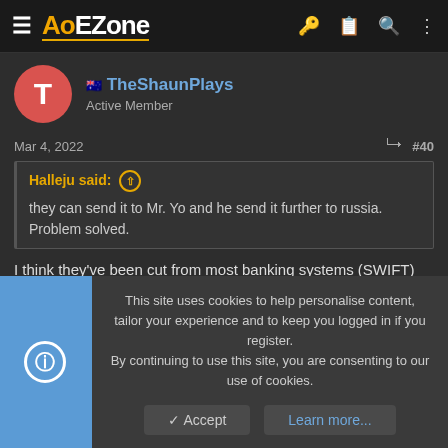AoEZone
[Figure (screenshot): User avatar: red circle with white letter T]
TheShaunPlays
Active Member
Mar 4, 2022  #40
Halleju said: ↑
they can send it to Mr. Yo and he send it further to russia. Problem solved.
I think they've been cut from most banking systems (SWIFT)
This site uses cookies to help personalise content, tailor your experience and to keep you logged in if you register.
By continuing to use this site, you are consenting to our use of cookies.
✓ Accept   Learn more...